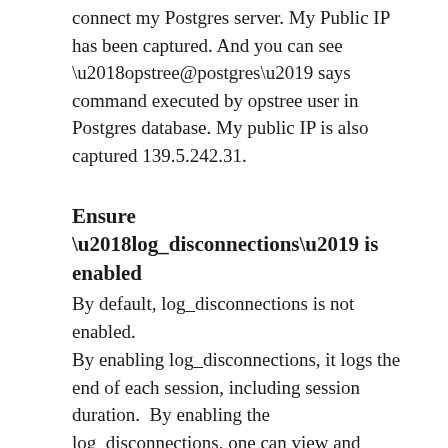connect my Postgres server. My Public IP has been captured. And you can see ‘opstree@postgres’ says command executed by opstree user in Postgres database. My public IP is also captured 139.5.242.31.
Ensure ‘log_disconnections’ is enabled
By default, log_disconnections is not enabled.
By enabling log_disconnections, it logs the end of each session, including session duration.  By enabling the log_disconnections, one can view and examine connections for failed attempts and the duration of the logged